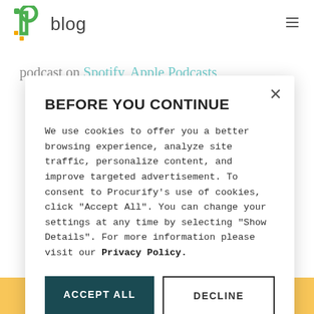[Figure (logo): Procurify logo with green P icon and 'blog' text]
podcast on Spotify, Apple Podcasts,
BEFORE YOU CONTINUE
We use cookies to offer you a better browsing experience, analyze site traffic, personalize content, and improve targeted advertisement. To consent to Procurify's use of cookies, click "Accept All". You can change your settings at any time by selecting "Show Details". For more information please visit our Privacy Policy.
ACCEPT ALL
DECLINE
SHOW DETAILS